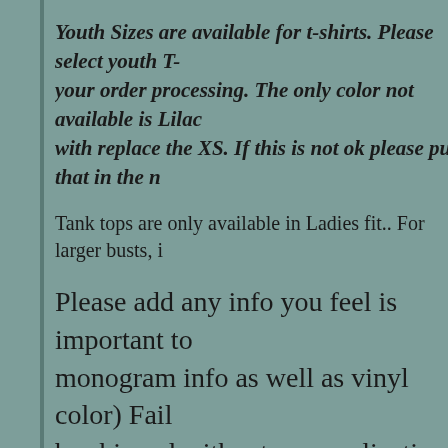Youth Sizes are available for t-shirts. Please select youth T- your order processing. The only color not available is Lilac with replace the XS. If this is not ok please put that in the n
Tank tops are only available in Ladies fit.. For larger busts, i
Please add any info you feel is important to monogram info as well as vinyl color) Fail be shipped without personalization. Monog *Sally Mae Brown = SBM
Our items are made by seller therefore, som ship. Please understand that shipping times timely as possible. Please contact seller wi